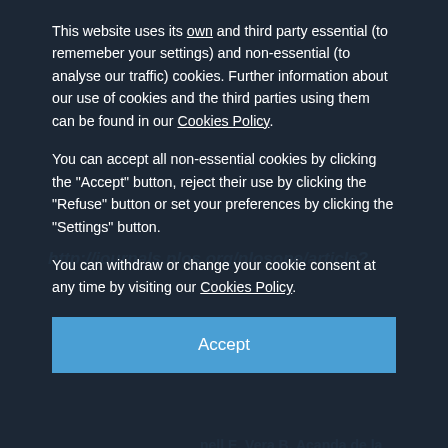[Figure (screenshot): Cookie consent overlay on a scientific journal website (PLOS ONE / Biosciences). Background shows a journal article reference page with blue-tinted text including a URL (http://journals.plos.org/plosone/article?...) and author names. Overlay contains cookie policy notice text in white on dark background, with a blue 'Accept' button.]
This website uses its own and third party essential (to rememeber your settings) and non-essential (to analyse our traffic) cookies. Further information about our use of cookies and the third parties using them can be found in our Cookies Policy.
You can accept all non-essential cookies by clicking the "Accept" button, reject their use by clicking the "Refuse" button or set your preferences by clicking the "Settings" button.
You can withdraw or change your cookie consent at any time by visiting our Cookies Policy.
Pascual-Pasto G, Bazan-Peregrino M, Olaciregui NG,